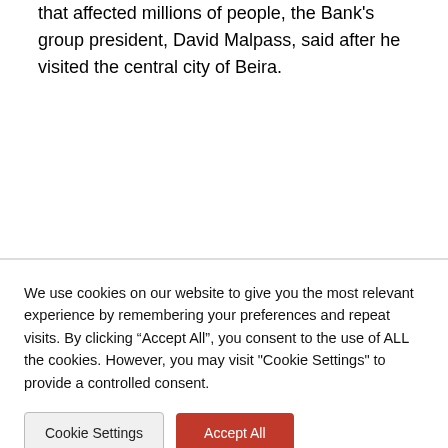that affected millions of people, the Bank's group president, David Malpass, said after he visited the central city of Beira.
We use cookies on our website to give you the most relevant experience by remembering your preferences and repeat visits. By clicking “Accept All”, you consent to the use of ALL the cookies. However, you may visit "Cookie Settings" to provide a controlled consent.
Cookie Settings
Accept All